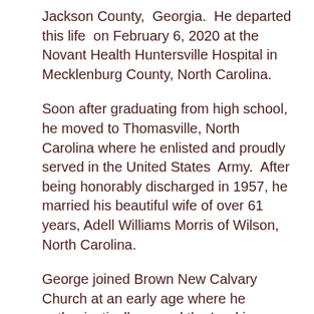Jackson County, Georgia. He departed this life on February 6, 2020 at the Novant Health Huntersville Hospital in Mecklenburg County, North Carolina.
Soon after graduating from high school, he moved to Thomasville, North Carolina where he enlisted and proudly served in the United States Army. After being honorably discharged in 1957, he married his beautiful wife of over 61 years, Adell Williams Morris of Wilson, North Carolina.
George joined Brown New Calvary Church at an early age where he enthusiastically served the Lord in several positions including president of the usher board, church bus driver and